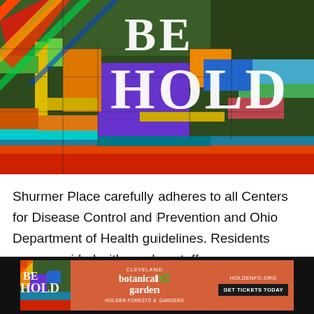[Figure (photo): Colorful stained glass / quilt-like outdoor art installation with geometric rectangles and stripes in rainbow colors including red, orange, yellow, green, blue, purple, gold. White text 'BE HOLD' overlaid on the image.]
Shurmer Place carefully adheres to all Centers for Disease Control and Prevention and Ohio Department of Health guidelines. Residents were provided with masks, staff wear proper personal protective equipment and visitation is strictly limited.
[Figure (infographic): Advertisement for Cleveland Botanical Garden 'BEHOLD' exhibit. Orange-red background with stained glass art thumbnail on left, 'BE HOLD' text in white serif font, Cleveland botanical garden logo and text in center, 'HOLDENFO.ORG' and 'GET TICKETS TODAY' button on right.]